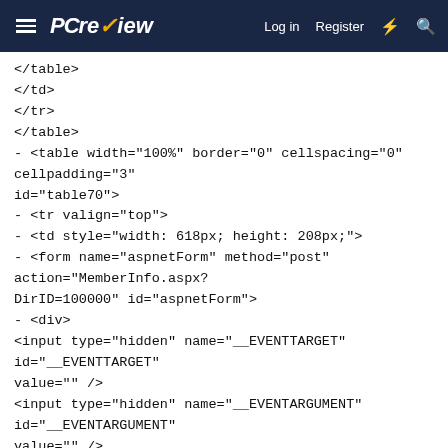PC review — Log in  Register
</table>
</td>
</tr>
</table>
- <table width="100%" border="0" cellspacing="0" cellpadding="3"
id="table70">
- <tr valign="top">
- <td style="width: 618px; height: 208px;">
- <form name="aspnetForm" method="post"
action="MemberInfo.aspx?
DirID=100000" id="aspnetForm">
- <div>
<input type="hidden" name="__EVENTTARGET"
id="__EVENTTARGET"
value="" />
<input type="hidden" name="__EVENTARGUMENT"
id="__EVENTARGUMENT"
value="" />